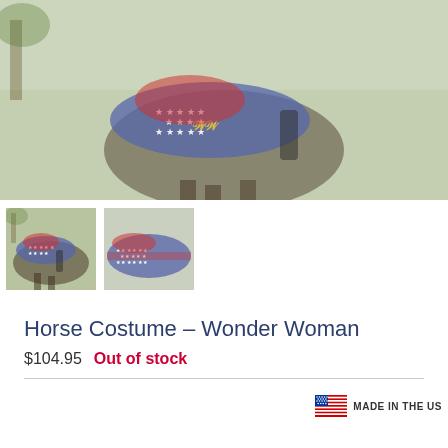[Figure (photo): Main product photo showing a horse wearing a Wonder Woman costume — blue blanket with white stars and gold logo, with red accents, photographed outdoors on grass.]
[Figure (photo): Thumbnail 1: Horse wearing Wonder Woman costume, full side view outdoors.]
[Figure (photo): Thumbnail 2: Close-up of the Wonder Woman horse blanket showing blue star fabric and red trim.]
Horse Costume – Wonder Woman
$104.95  Out of stock
[Figure (logo): US flag icon with text MADE IN THE US]